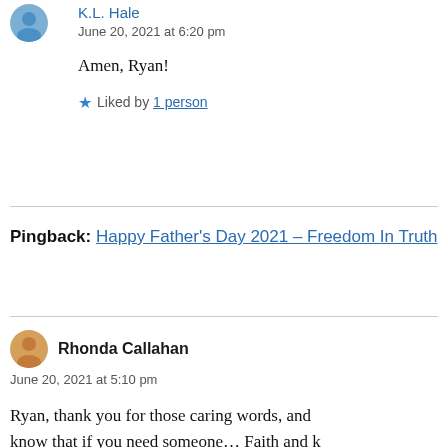K.L. Hale
June 20, 2021 at 6:20 pm
Amen, Ryan!
Liked by 1 person
Pingback: Happy Father's Day 2021 – Freedom In Truth
Rhonda Callahan
June 20, 2021 at 5:10 pm
Ryan, thank you for those caring words, and know that if you need someone… Faith and k